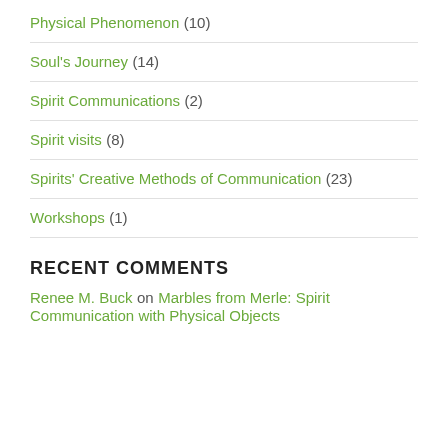Physical Phenomenon (10)
Soul's Journey (14)
Spirit Communications (2)
Spirit visits (8)
Spirits' Creative Methods of Communication (23)
Workshops (1)
RECENT COMMENTS
Renee M. Buck on Marbles from Merle: Spirit Communication with Physical Objects